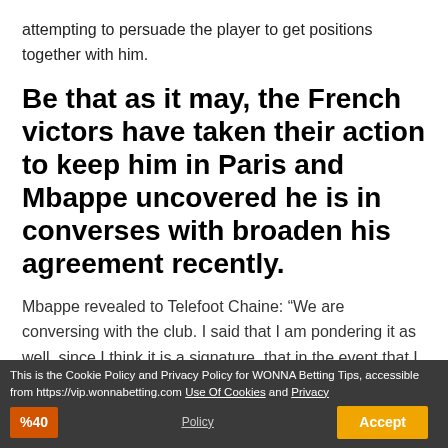attempting to persuade the player to get positions together with him.
Be that as it may, the French victors have taken their action to keep him in Paris and Mbappe uncovered he is in converses with broaden his agreement recently.
Mbappe revealed to Telefoot Chaine: “We are conversing with the club. I said that I am pondering it as well, since I think it is a signature, that in the event that I sign, I am putting myself for the long haul into PSG.
This is the Cookie Policy and Privacy Policy for WONNA Betting Tips, accessible from https://vip.wonnabetting.com Use Of Cookies and Privacy Policy
%40
Policy
Accept